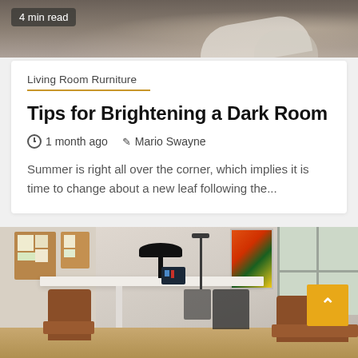[Figure (photo): Top portion of a room/interior photo with a dark semi-transparent badge reading '4 min read']
4 min read
Living Room Rurniture
Tips for Brightening a Dark Room
1 month ago   Mario Swayne
Summer is right all over the corner, which implies it is time to change about a new leaf following the...
[Figure (photo): Interior room photo showing a white table with a black dome lamp, brown leather chairs, cork boards on the wall, colorful artwork, and French windows. A yellow scroll-to-top button is visible in the lower right.]